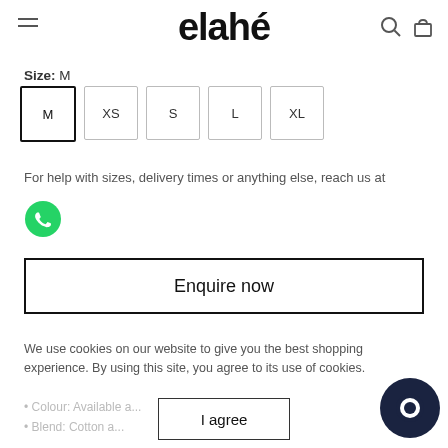elahé
Size: M
M  XS  S  L  XL
For help with sizes, delivery times or anything else, reach us at
[Figure (illustration): WhatsApp icon - green speech bubble with phone]
Enquire now
We use cookies on our website to give you the best shopping experience. By using this site, you agree to its use of cookies.
I agree
Colour: Available a...
Blend: Cotton a...
[Figure (illustration): Chat/messenger circle icon, dark navy, bottom right corner]